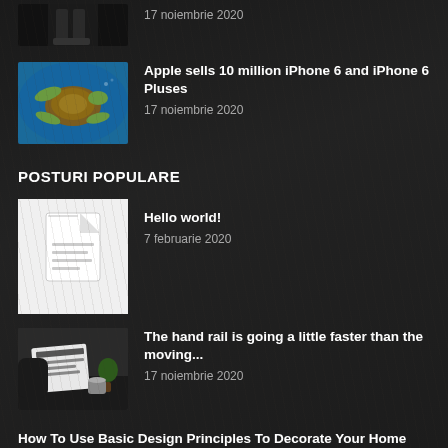[Figure (photo): Partial view of a person sitting, only legs/feet visible, dark background]
17 noiembrie 2020
[Figure (photo): Sea turtle swimming underwater on blue background]
Apple sells 10 million iPhone 6 and iPhone 6 Pluses
17 noiembrie 2020
POSTURI POPULARE
[Figure (photo): Document/file icon on white background]
Hello world!
7 februarie 2020
[Figure (photo): Person in business attire reading a newspaper at a table with coffee]
The hand rail is going a little faster than the moving...
17 noiembrie 2020
How To Use Basic Design Principles To Decorate Your Home